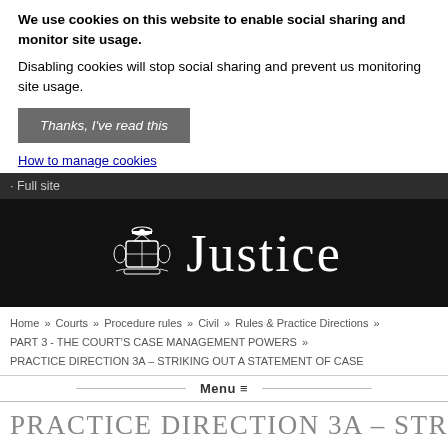We use cookies on this website to enable social sharing and monitor site usage.
Disabling cookies will stop social sharing and prevent us monitoring site usage.
Thanks, I've read this
How to manage cookies
Full site
[Figure (logo): UK Government coat of arms with the word Justice in white on black background]
Home » Courts » Procedure rules » Civil » Rules & Practice Directions » PART 3 - THE COURT'S CASE MANAGEMENT POWERS » PRACTICE DIRECTION 3A – STRIKING OUT A STATEMENT OF CASE
Menu ≡
PRACTICE DIRECTION 3A – STRIKING